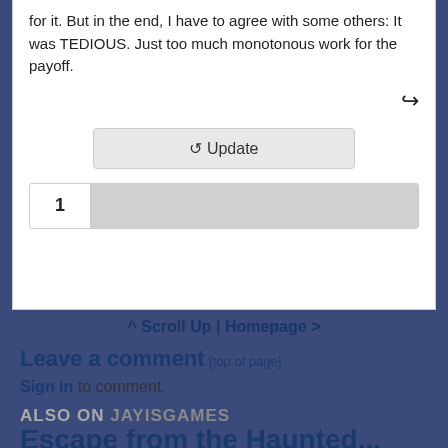for it. But in the end, I have to agree with some others: It was TEDIOUS. Just too much monotonous work for the payoff.
[Figure (other): Share/reply icon (arrow pointing right)]
⟳ Update
1
^ Scroll Up | Homepage >
Leave a comment [top of page]
Sign in to comment.
ALSO ON JAYISGAMES
Escape from the Haunted...